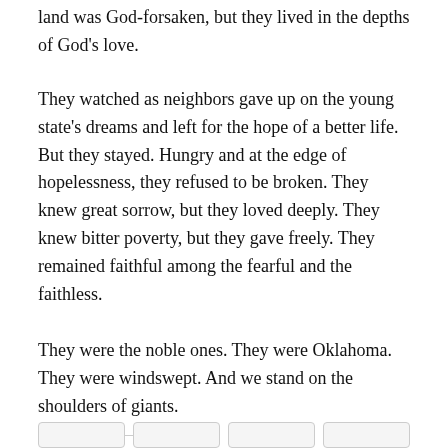land was God-forsaken, but they lived in the depths of God’s love.
They watched as neighbors gave up on the young state’s dreams and left for the hope of a better life. But they stayed. Hungry and at the edge of hopelessness, they refused to be broken. They knew great sorrow, but they loved deeply. They knew bitter poverty, but they gave freely. They remained faithful among the fearful and the faithless.
They were the noble ones. They were Oklahoma. They were windswept. And we stand on the shoulders of giants.
Share this: